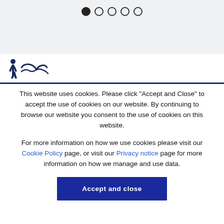[Figure (other): Five pagination dots, first filled black, rest hollow, on a light grey background.]
[Figure (logo): A dark blue silhouette logo (figure with text) above a dark blue horizontal rule.]
This website uses cookies. Please click "Accept and Close" to accept the use of cookies on our website. By continuing to browse our website you consent to the use of cookies on this website.
For more information on how we use cookies please visit our Cookie Policy page, or visit our Privacy notice page for more information on how we manage and use data.
Accept and close